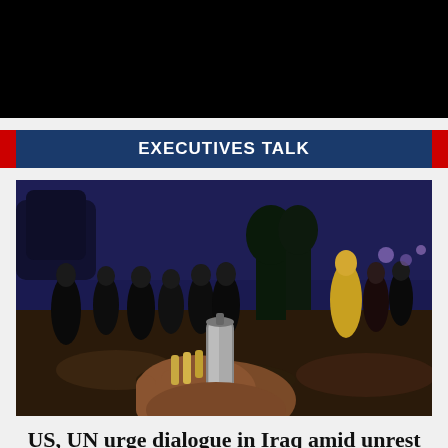[Figure (photo): Black banner/header area at top of page]
EXECUTIVES TALK
[Figure (photo): Night scene photo showing protesters, with a hand holding a spent tear gas canister in the foreground and people milling about in background under dark blue night sky]
US, UN urge dialogue in Iraq amid unrest